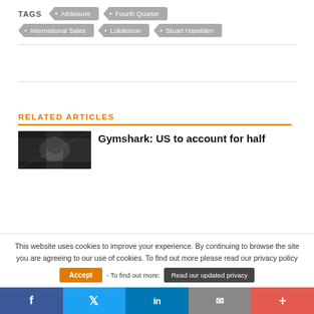TAGS
Athleisure
Fourth Quarter
International Sales
Lululemon
Stuart Haselden
RELATED ARTICLES
[Figure (photo): Thumbnail photo for Gymshark article, dark toned image]
Gymshark: US to account for half
This website uses cookies to improve your experience. By continuing to browse the site you are agreeing to our use of cookies. To find out more please read our privacy policy
Accept - To find out more: Read our updated privacy
f  t  in  ✉  +